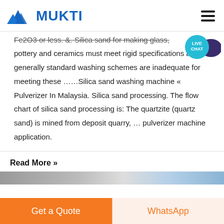MUKTI
Fe2O3 or less. &. Silica sand for making glass, pottery and ceramics must meet rigid specifications and generally standard washing schemes are inadequate for meeting these ……Silica sand washing machine « Pulverizer In Malaysia. Silica sand processing. The flow chart of silica sand processing is: The quartzite (quartz sand) is mined from deposit quarry, … pulverizer machine application.
Read More »
[Figure (photo): Partial thumbnail images at bottom of content area]
Get a Quote
WhatsApp